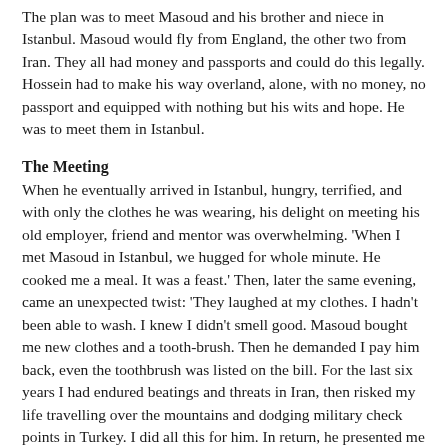The plan was to meet Masoud and his brother and niece in Istanbul. Masoud would fly from England, the other two from Iran. They all had money and passports and could do this legally. Hossein had to make his way overland, alone, with no money, no passport and equipped with nothing but his wits and hope. He was to meet them in Istanbul.
The Meeting
When he eventually arrived in Istanbul, hungry, terrified, and with only the clothes he was wearing, his delight on meeting his old employer, friend and mentor was overwhelming. 'When I met Masoud in Istanbul, we hugged for whole minute. He cooked me a meal. It was a feast.' Then, later the same evening, came an unexpected twist: 'They laughed at my clothes. I hadn't been able to wash. I knew I didn't smell good. Masoud bought me new clothes and a tooth-brush. Then he demanded I pay him back, even the toothbrush was listed on the bill. For the last six years I had endured beatings and threats in Iran, then risked my life travelling over the mountains and dodging military check points in Turkey. I did all this for him. In return, he presented me with the bill for a toothbrush.'